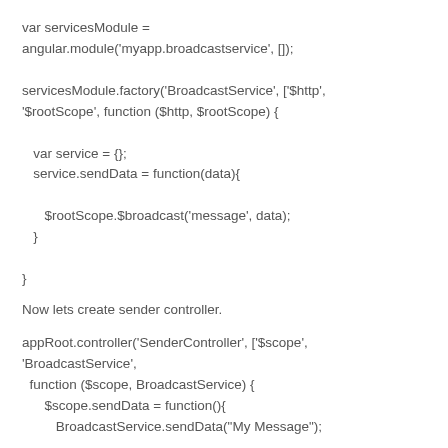var servicesModule =
angular.module('myapp.broadcastservice', []);

servicesModule.factory('BroadcastService', ['$http',
'$rootScope', function ($http, $rootScope) {

   var service = {};
   service.sendData = function(data){

      $rootScope.$broadcast('message', data);
   }

}
Now lets create sender controller.
appRoot.controller('SenderController', ['$scope',
'BroadcastService',
  function ($scope, BroadcastService) {
      $scope.sendData = function(){
         BroadcastService.sendData("My Message");